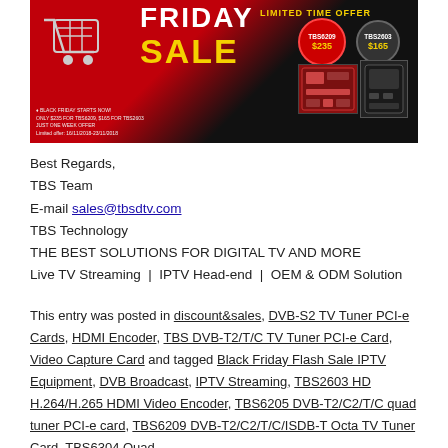[Figure (photo): Black Friday Sale promotional banner with shopping cart, 'FRIDAY SALE' text in red/yellow, 'LIMITED TIME OFFER' label, two price badges (TBS6209 $235, TBS2603 $165), product images of a PCIe card and a device.]
Best Regards,
TBS Team
E-mail sales@tbsdtv.com
TBS Technology
THE BEST SOLUTIONS FOR DIGITAL TV AND MORE
Live TV Streaming | IPTV Head-end | OEM & ODM Solution
This entry was posted in discount&sales, DVB-S2 TV Tuner PCI-e Cards, HDMI Encoder, TBS DVB-T2/T/C TV Tuner PCI-e Card, Video Capture Card and tagged Black Friday Flash Sale IPTV Equipment, DVB Broadcast, IPTV Streaming, TBS2603 HD H.264/H.265 HDMI Video Encoder, TBS6205 DVB-T2/C2/T/C quad tuner PCI-e card, TBS6209 DVB-T2/C2/T/C/ISDB-T Octa TV Tuner Card, TBS6304 Quad